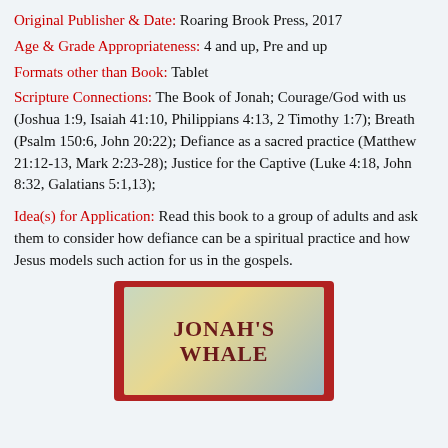Original Publisher & Date: Roaring Brook Press, 2017
Age & Grade Appropriateness: 4 and up, Pre and up
Formats other than Book: Tablet
Scripture Connections: The Book of Jonah; Courage/God with us (Joshua 1:9, Isaiah 41:10, Philippians 4:13, 2 Timothy 1:7); Breath (Psalm 150:6, John 20:22); Defiance as a sacred practice (Matthew 21:12-13, Mark 2:23-28); Justice for the Captive (Luke 4:18, John 8:32, Galatians 5:1,13);
Idea(s) for Application: Read this book to a group of adults and ask them to consider how defiance can be a spiritual practice and how Jesus models such action for us in the gospels.
[Figure (illustration): Book cover of Jonah's Whale with red border and illustrated background, showing title text JONAH'S WHALE in dark red serif font]